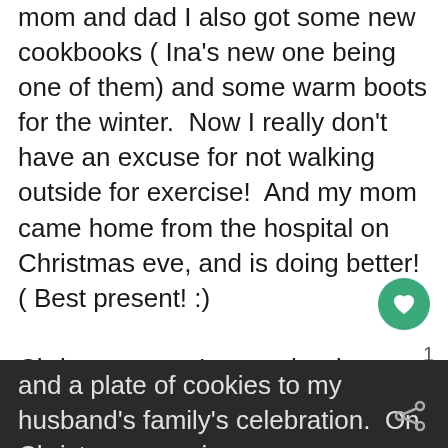mom and dad I also got some new cookbooks ( Ina's new one being one of them) and some warm boots for the winter.  Now I really don't have an excuse for not walking outside for exercise!  And my mom came home from the hospital on Christmas eve, and is doing better!  ( Best present! :)
Christmas eve, I spent the day cooking....I made my Make over Mac and Cheese, but used Gruyere cheese and reduced fat sharp cheddar...I made pierogies, coleslaw, my stuffed mushrooms, and took a loaf of brea
and a plate of cookies to my husband's family's celebration.  On Christmas morning,